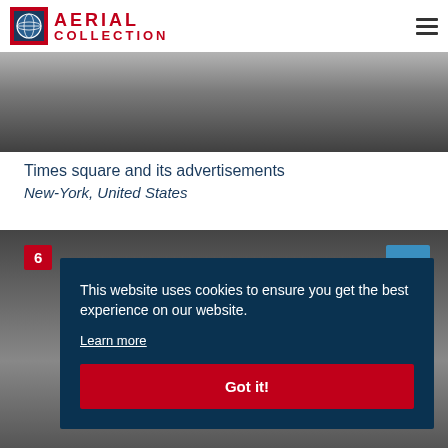AERIAL COLLECTION
[Figure (photo): Aerial view of Times Square crowd from above, showing dense crowd of people and street level scene]
Times square and its advertisements
New-York, United States
[Figure (photo): Street-level photo of Times Square at night with city lights and advertisements]
This website uses cookies to ensure you get the best experience on our website.
Learn more
Got it!